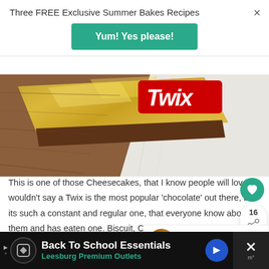Three FREE Exclusive Summer Bakes Recipes
Yum! Yes please!
[Figure (photo): A Twix chocolate bar in gold foil wrapper on a wooden cutting board and marble surface]
This is one of those Cheesecakes, that I know people will love. I wouldn't say a Twix is the most popular 'chocolate' out there, but its such a constant and regular one, that everyone know about them and has eaten one. Biscuit, Caramel and Chocolate.. YUMMY. Is it really a sweet? Or is a bis... hard to say as its kinda both.. but its found in the
WHAT'S NEXT → Twix Rocky Road!
Back To School Essentials Leesburg Premium Outlets